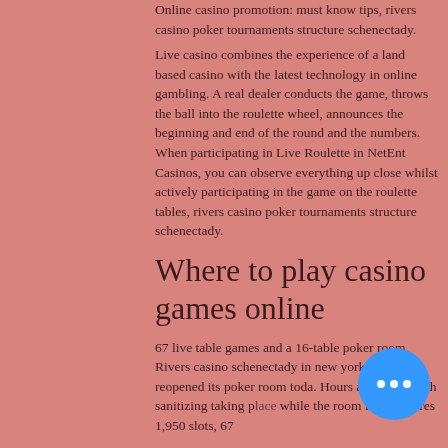Online casino promotion: must know tips, rivers casino poker tournaments structure schenectady.
Live casino combines the experience of a land based casino with the latest technology in online gambling. A real dealer conducts the game, throws the ball into the roulette wheel, announces the beginning and end of the round and the numbers. When participating in Live Roulette in NetEnt Casinos, you can observe everything up close whilst actively participating in the game on the roulette tables, rivers casino poker tournaments structure schenectady.
Where to play casino games online
67 live table games and a 16-table poker room. Rivers casino schenectady in new york has reopened its poker room toda. Hours are 10 a. , with sanitizing taking p while the room is. It features 1,950 slots, 67